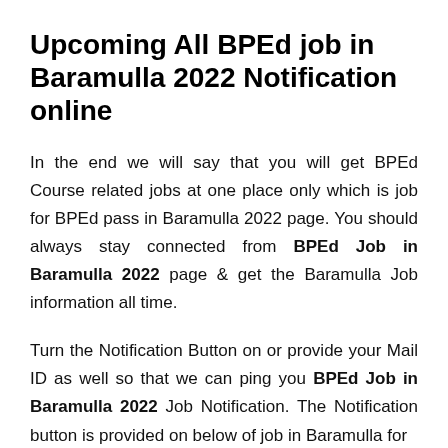Upcoming All BPEd job in Baramulla 2022 Notification online
In the end we will say that you will get BPEd Course related jobs at one place only which is job for BPEd pass in Baramulla 2022 page. You should always stay connected from BPEd Job in Baramulla 2022 page & get the Baramulla Job information all time.
Turn the Notification Button on or provide your Mail ID as well so that we can ping you BPEd Job in Baramulla 2022 Job Notification. The Notification button is provided on below of job in Baramulla for